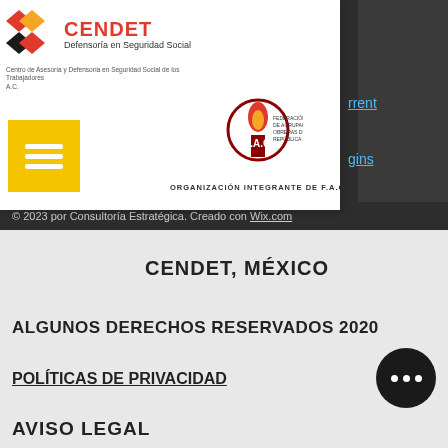[Figure (logo): CENDET logo with red diamond shapes and text 'CENDET Defensoría en Seguridad Social']
Centro de Asesoría y Defensoría en Seguridad Social de los Trabajadores A.C.
[Figure (logo): FAO federation logo with torch emblem and text 'ORGANIZACIÓN INTEGRANTE DE F.A.O']
[Figure (other): Yellow hamburger menu button]
torrent download
kindergarten is too late masaru ibuka ebook
© 2023 por Consultoría Estratégica. Creado con Wix.com
CENDET, MÉXICO
ALGUNOS DERECHOS RESERVADOS 2020
POLÍTICAS DE PRIVACIDAD
AVISO LEGAL